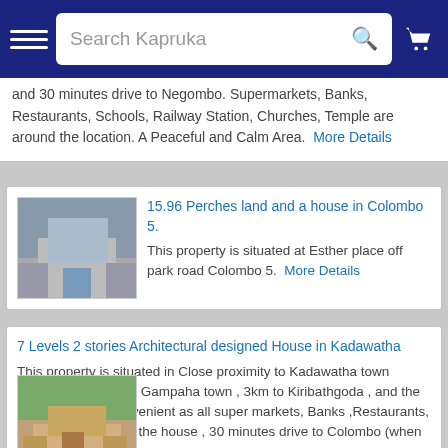Search Kapruka
and 30 minutes drive to Negombo. Supermarkets, Banks, Restaurants, Schools, Railway Station, Churches, Temple are around the location. A Peaceful and Calm Area.  More Details
15.96 Perches land and a house in Colombo 5.
This property is situated at Esther place off park road Colombo 5.  More Details
7 Levels 2 stories Architectural designed House in Kadawatha
This property is situated in Close proximity to Kadawatha town (About 1km) 6Km to Gampaha town , 3km to Kiribathgoda , and the location is very convenient as all super markets, Banks ,Restaurants, schools are near by the house , 30 minutes drive to Colombo (when there is no traffic).